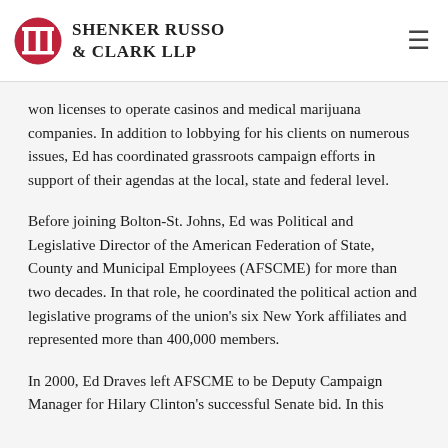Shenker Russo & Clark LLP
won licenses to operate casinos and medical marijuana companies. In addition to lobbying for his clients on numerous issues, Ed has coordinated grassroots campaign efforts in support of their agendas at the local, state and federal level.
Before joining Bolton-St. Johns, Ed was Political and Legislative Director of the American Federation of State, County and Municipal Employees (AFSCME) for more than two decades. In that role, he coordinated the political action and legislative programs of the union's six New York affiliates and represented more than 400,000 members.
In 2000, Ed Draves left AFSCME to be Deputy Campaign Manager for Hilary Clinton's successful Senate bid. In this